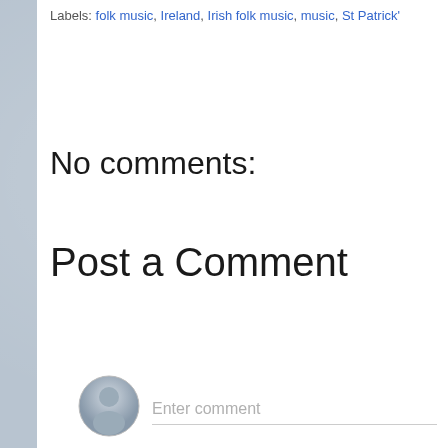Labels: folk music, Ireland, Irish folk music, music, St Patrick's
No comments:
Post a Comment
Enter comment
Newer Post
H
Subscribe to: Post Comments (Atom)
ABOUT ME
Carlo Sands